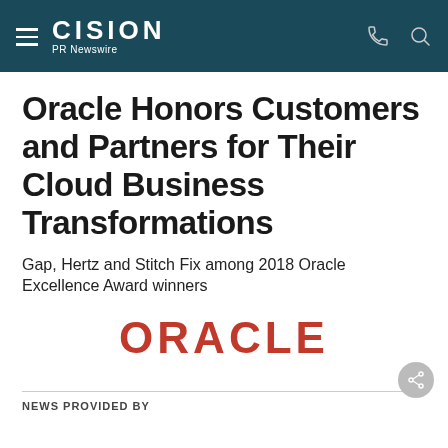CISION PR Newswire
Oracle Honors Customers and Partners for Their Cloud Business Transformations
Gap, Hertz and Stitch Fix among 2018 Oracle Excellence Award winners
[Figure (logo): Oracle logo in red/dark red text on white background]
NEWS PROVIDED BY